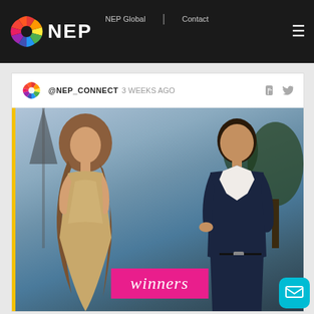NEP | NEP Global | Contact
@NEP_CONNECT 3 WEEKS AGO
[Figure (photo): A couple (woman in sparkly dress with long wavy hair and man in dark suit with open white shirt) posing together outdoors at dusk with trees in background. A pink banner at the bottom reads 'winners' in white italic text.]